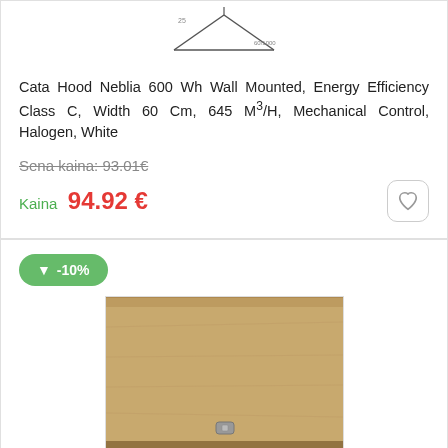[Figure (illustration): Technical diagram/schematic of a hood product at top of page]
Cata Hood Neblia 600 Wh Wall Mounted, Energy Efficiency Class C, Width 60 Cm, 645 M³/H, Mechanical Control, Halogen, White
Sena kaina: 93.01€ (strikethrough)
Kaina  94.92 €
-10% (discount badge)
[Figure (photo): Photo of a wooden box / product packaging, tan/brown colored]
Sale Out. Cata Tf 5260 X Hood, D, Telescopic, Width 60 Cm, 325 M³/H, Slider Control, Inox Cata Hood Tf 5260 X Telescopic, Energy Efficiency Class D, Width 60 Cm, 325 M³/H, Slider Control, Led, Inox, Damaged Packaging | 02034310So